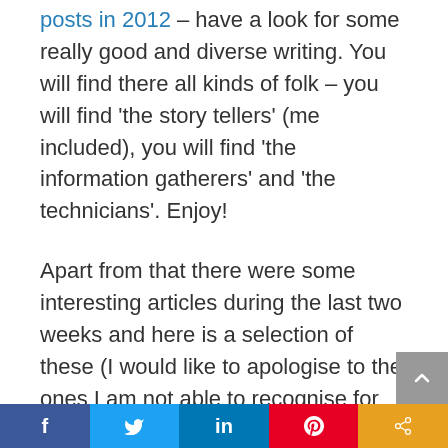posts in 2012 – have a look for some really good and diverse writing. You will find there all kinds of folk – you will find 'the story tellers' (me included), you will find 'the information gatherers' and 'the technicians'. Enjoy!
Apart from that there were some interesting articles during the last two weeks and here is a selection of these (I would like to apologise to the ones I am not able to recognise for want of time and
f  [Twitter]  in  [Pinterest]  [share]